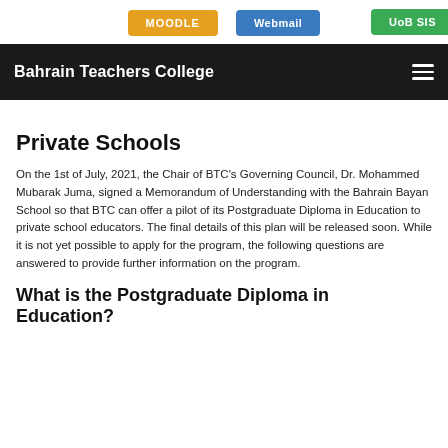MOODLE | Webmail | UoB SIS
Bahrain Teachers College
Private Schools
On the 1st of July, 2021, the Chair of BTC's Governing Council, Dr. Mohammed Mubarak Juma, signed a Memorandum of Understanding with the Bahrain Bayan School so that BTC can offer a pilot of its Postgraduate Diploma in Education to private school educators. The final details of this plan will be released soon. While it is not yet possible to apply for the program, the following questions are answered to provide further information on the program.
What is the Postgraduate Diploma in Education?